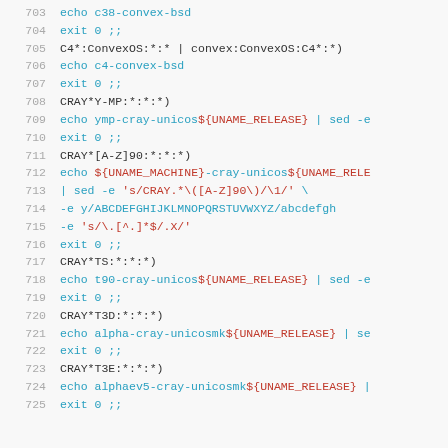[Figure (screenshot): Source code listing showing shell script case statements for various CRAY computer systems, lines 703-725. Lines show pattern matching cases (CRAY*Y-MP, CRAY*[A-Z]90, CRAY*TS, CRAY*T3D, CRAY*T3E, C4*:ConvexOS) with echo and exit commands, using syntax highlighting with cyan for commands and red for string literals.]